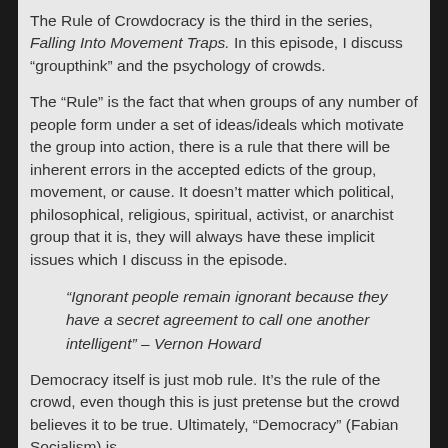The Rule of Crowdocracy is the third in the series, Falling Into Movement Traps. In this episode, I discuss “groupthink” and the psychology of crowds.
The “Rule” is the fact that when groups of any number of people form under a set of ideas/ideals which motivate the group into action, there is a rule that there will be inherent errors in the accepted edicts of the group, movement, or cause. It doesn’t matter which political, philosophical, religious, spiritual, activist, or anarchist group that it is, they will always have these implicit issues which I discuss in the episode.
“Ignorant people remain ignorant because they have a secret agreement to call one another intelligent” – Vernon Howard
Democracy itself is just mob rule. It’s the rule of the crowd, even though this is just pretense but the crowd believes it to be true. Ultimately, “Democracy” (Fabian Socialism) is